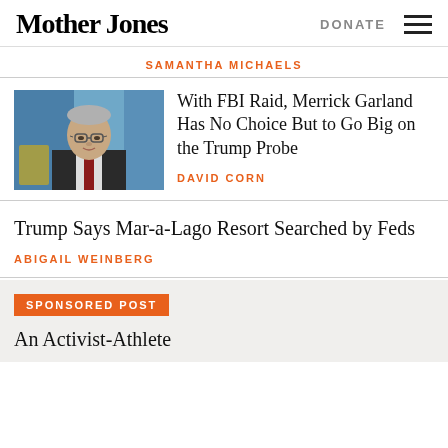Mother Jones | DONATE
SAMANTHA MICHAELS
[Figure (photo): Photo of Merrick Garland speaking at a podium against a blue background]
With FBI Raid, Merrick Garland Has No Choice But to Go Big on the Trump Probe
DAVID CORN
Trump Says Mar-a-Lago Resort Searched by Feds
ABIGAIL WEINBERG
SPONSORED POST
An Activist-Athlete